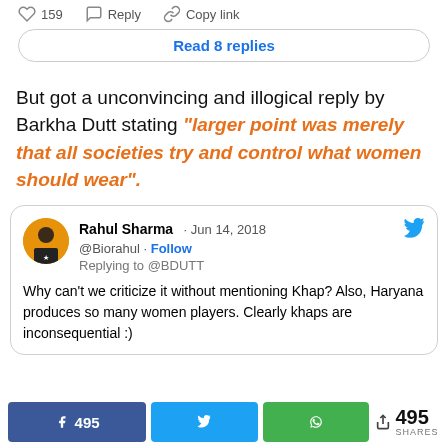159   Reply   Copy link
Read 8 replies
But got a unconvincing and illogical reply by Barkha Dutt stating "larger point was merely that all societies try and control what women should wear".
Rahul Sharma · Jun 14, 2018 @Biorahul · Follow Replying to @BDUTT Why can't we criticize it without mentioning Khap? Also, Haryana produces so many women players. Clearly khaps are inconsequential :)
495 SHARES